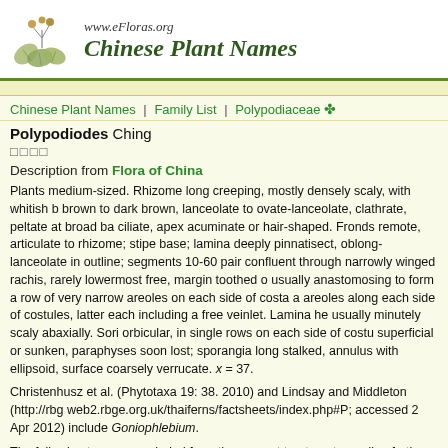www.eFloras.org — Chinese Plant Names
Chinese Plant Names | Family List | Polypodiaceae
Polypodiodes Ching
□□□□
Description from Flora of China
Plants medium-sized. Rhizome long creeping, mostly densely scaly, with whitish b brown to dark brown, lanceolate to ovate-lanceolate, clathrate, peltate at broad ba ciliate, apex acuminate or hair-shaped. Fronds remote, articulate to rhizome; stipe base; lamina deeply pinnatisect, oblong-lanceolate in outline; segments 10-60 pair confluent through narrowly winged rachis, rarely lowermost free, margin toothed o usually anastomosing to form a row of very narrow areoles on each side of costa a areoles along each side of costules, latter each including a free veinlet. Lamina he usually minutely scaly abaxially. Sori orbicular, in single rows on each side of costu superficial or sunken, paraphyses soon lost; sporangia long stalked, annulus with ellipsoid, surface coarsely verrucate. x = 37.
Christenhusz et al. (Phytotaxa 19: 38. 2010) and Lindsay and Middleton (http://rbg web2.rbge.org.uk/thaiferns/factsheets/index.php#P; accessed 2 Apr 2012) include Goniophlebium.
The following taxa are excluded from the present treatment, pending further resea Wu & J. Murata (Acta Phytotax. Sin. 39: 70. 2001), described from Yunnan, and P. Phytotax. Sin. 22: 400. 1984), described from Xizang.
About 17 species: mostly confined to tropical and subtropical Asia; 11 species (thr